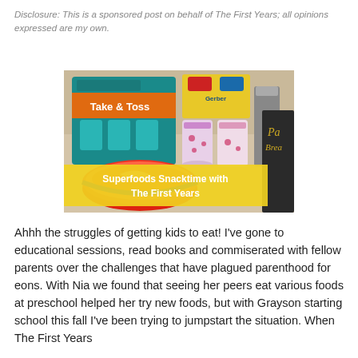Disclosure: This is a sponsored post on behalf of The First Years; all opinions expressed are my own.
[Figure (photo): Photo of baby/toddler products including 'Take & Toss' cup set box, colorful sippy cups, and a red bowl on a kitchen counter. Overlaid yellow banner text reads 'Superfoods Snacktime with The First Years'.]
Ahhh the struggles of getting kids to eat! I've gone to educational sessions, read books and commiserated with fellow parents over the challenges that have plagued parenthood for eons. With Nia we found that seeing her peers eat various foods at preschool helped her try new foods, but with Grayson starting school this fall I've been trying to jumpstart the situation. When The First Years